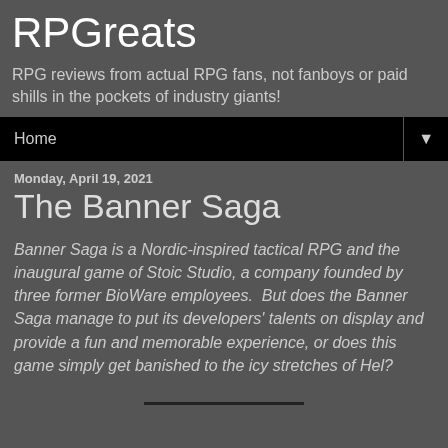RPGreats
RPG reviews from actual RPG fans, not fanboys or paid shills in the pockets of industry giants!
Home ▼
Monday, April 19, 2021
The Banner Saga
Banner Saga is a Nordic-inspired tactical RPG and the inaugural game of Stoic Studio, a company founded by three former BioWare employees.  But does the Banner Saga manage to put its developers' talents on display and provide a fun and memorable experience, or does this game simply get banished to the icy stretches of Hel?